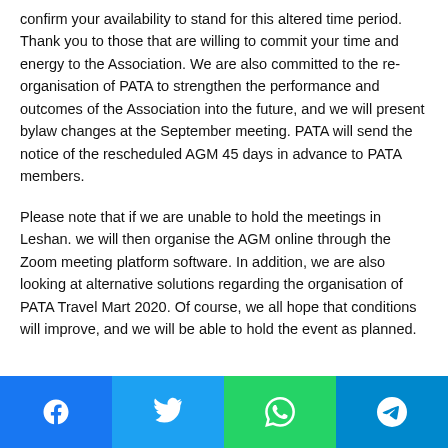confirm your availability to stand for this altered time period. Thank you to those that are willing to commit your time and energy to the Association. We are also committed to the re-organisation of PATA to strengthen the performance and outcomes of the Association into the future, and we will present bylaw changes at the September meeting. PATA will send the notice of the rescheduled AGM 45 days in advance to PATA members.
Please note that if we are unable to hold the meetings in Leshan. we will then organise the AGM online through the Zoom meeting platform software. In addition, we are also looking at alternative solutions regarding the organisation of PATA Travel Mart 2020. Of course, we all hope that conditions will improve, and we will be able to hold the event as planned.
[Figure (infographic): Social media share buttons: Facebook (blue), Twitter (light blue), WhatsApp (green), Telegram (dark blue)]